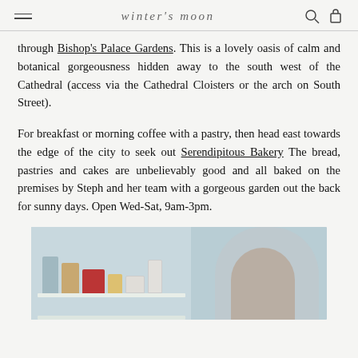winter's moon
through Bishop's Palace Gardens. This is a lovely oasis of calm and botanical gorgeousness hidden away to the south west of the Cathedral (access via the Cathedral Cloisters or the arch on South Street).
For breakfast or morning coffee with a pastry, then head east towards the edge of the city to seek out Serendipitous Bakery The bread, pastries and cakes are unbelievably good and all baked on the premises by Steph and her team with a gorgeous garden out the back for sunny days. Open Wed-Sat, 9am-3pm.
[Figure (photo): Photo of a bakery shelf with products and a person in the background]